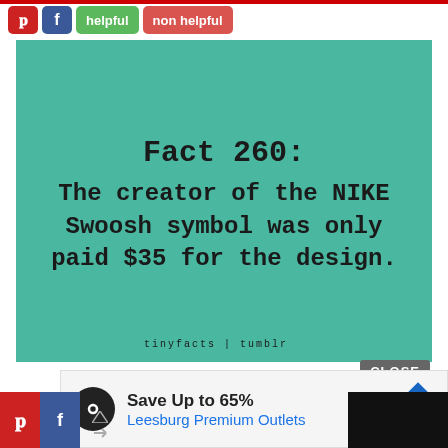[Figure (screenshot): Top navigation bar with Pinterest (P) and Facebook (f) social buttons in red and blue rounded rectangles, followed by green 'helpful' button and red 'non helpful' button]
[Figure (infographic): Teal/green background card with text 'Fact 260: The creator of the NIKE Swoosh symbol was only paid $35 for the design.' in monospace bold font, with 'tinyfacts | tumblr' at the bottom]
CLOSE
[Figure (screenshot): Advertisement banner: circular black icon with infinity-like symbol, 'Save Up to 65%' in bold, 'Leesburg Premium Outlets' in blue, blue diamond arrow icon on right]
[Figure (screenshot): Bottom bar with Pinterest and Facebook icons on left, black block on right]